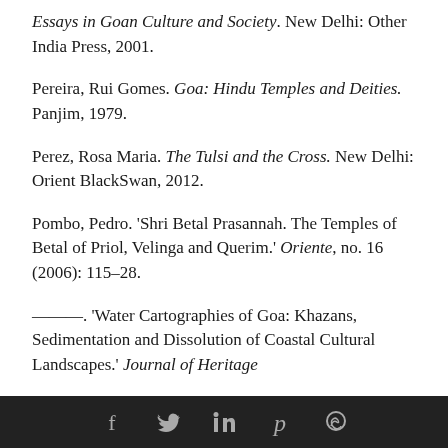Essays in Goan Culture and Society. New Delhi: Other India Press, 2001.
Pereira, Rui Gomes. Goa: Hindu Temples and Deities. Panjim, 1979.
Perez, Rosa Maria. The Tulsi and the Cross. New Delhi: Orient BlackSwan, 2012.
Pombo, Pedro. 'Shri Betal Prasannah. The Temples of Betal of Priol, Velinga and Querim.' Oriente, no. 16 (2006): 115–28.
———. 'Water Cartographies of Goa: Khazans, Sedimentation and Dissolution of Coastal Cultural Landscapes.' Journal of Heritage
Social media icons: Facebook, Twitter, LinkedIn, Pinterest, WhatsApp